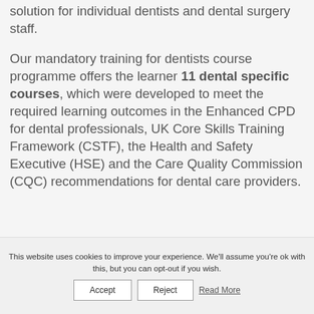effective learning platform and training solution for individual dentists and dental surgery staff.
Our mandatory training for dentists course programme offers the learner 11 dental specific courses, which were developed to meet the required learning outcomes in the Enhanced CPD for dental professionals, UK Core Skills Training Framework (CSTF), the Health and Safety Executive (HSE) and the Care Quality Commission (CQC) recommendations for dental care providers.
This website uses cookies to improve your experience. We'll assume you're ok with this, but you can opt-out if you wish.